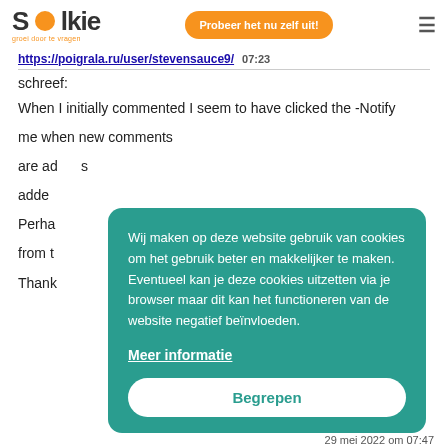Solkie — Probeer het nu zelf uit!
https://poigrala.ru/user/stevensauce9/  07:23
schreef:
When I initially commented I seem to have clicked the -Notify me when new comments are added- checkbox and now each time a comment is added I get four emails with the same comment. Perhaps there is an easy method you can remove me from that service? Thanks!
Wij maken op deze website gebruik van cookies om het gebruik beter en makkelijker te maken. Eventueel kan je deze cookies uitzetten via je browser maar dit kan het functioneren van de website negatief beïnvloeden.
Meer informatie
Begrepen
29 mei 2022 om 07:47